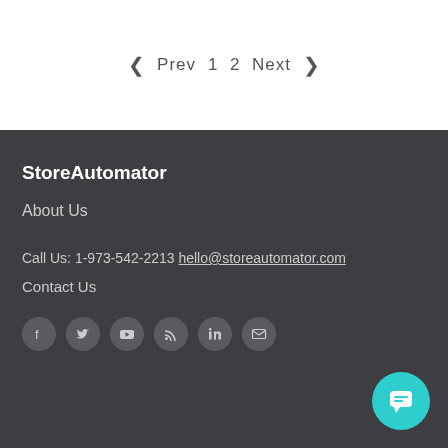< Prev  1  2  Next >
StoreAutomator
About Us
Call Us: 1-973-542-2213  hello@storeautomator.com
Contact Us
[Figure (other): Social media icons: Facebook, Twitter, YouTube, RSS, LinkedIn, Email]